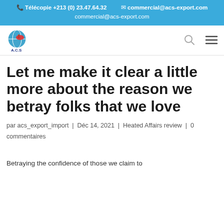Télécopie +213 (0) 23.47.64.32   commercial@acs-export.com
[Figure (logo): ACS Export-Import company logo with globe and ship icon]
Let me make it clear a little more about the reason we betray folks that we love
par acs_export_import | Déc 14, 2021 | Heated Affairs review | 0 commentaires
Betraying the confidence of those we claim to